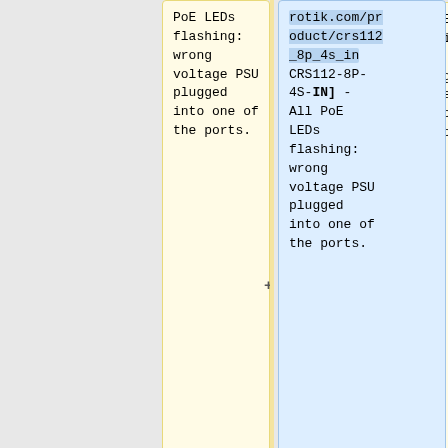PoE LEDs flashing: wrong voltage PSU plugged into one of the ports.
[https://mik rotik.com/product/crs112_8p_4s_in CRS112-8P-4S-IN] - All PoE LEDs flashing: wrong voltage PSU plugged into one of the ports.
<li> CRS328-24P-4S+ - indicates an exceeded overall max PoE output limit. Port PoE-Out
<li> [https://mik rotik.com/product/netpower_16p netPower 16P] - All PoE LEDs